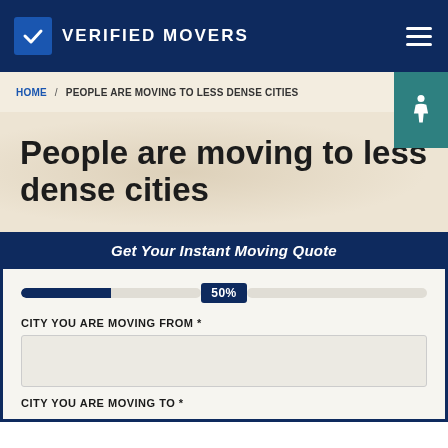VERIFIED MOVERS
HOME / PEOPLE ARE MOVING TO LESS DENSE CITIES
People are moving to less dense cities
Get Your Instant Moving Quote
50%
CITY YOU ARE MOVING FROM *
CITY YOU ARE MOVING TO *